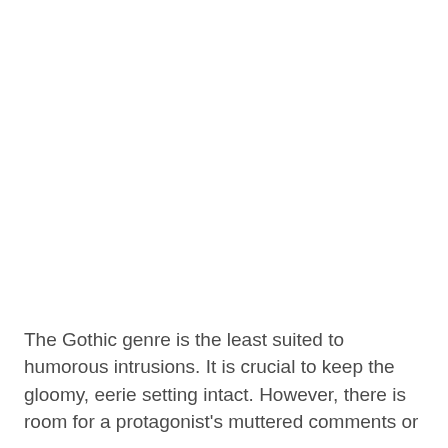The Gothic genre is the least suited to humorous intrusions. It is crucial to keep the gloomy, eerie setting intact. However, there is room for a protagonist's muttered comments or